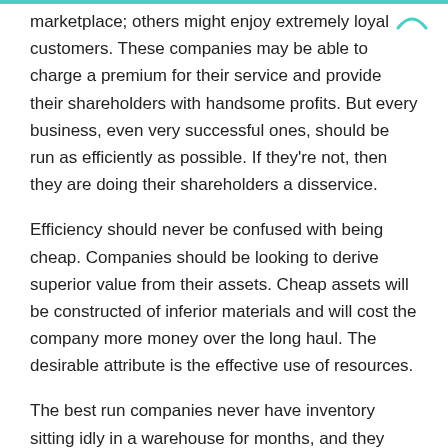marketplace; others might enjoy extremely loyal customers. These companies may be able to charge a premium for their service and provide their shareholders with handsome profits. But every business, even very successful ones, should be run as efficiently as possible. If they're not, then they are doing their shareholders a disservice.
Efficiency should never be confused with being cheap. Companies should be looking to derive superior value from their assets. Cheap assets will be constructed of inferior materials and will cost the company more money over the long haul. The desirable attribute is the effective use of resources.
The best run companies never have inventory sitting idly in a warehouse for months, and they never run out